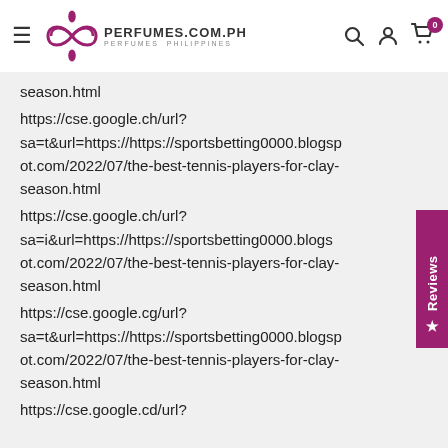PERFUMES.COM.PH - Perfumes Philippines
season.html
https://cse.google.ch/url?sa=t&url=https://https://sportsbetting0000.blogspot.com/2022/07/the-best-tennis-players-for-clay-season.html
https://cse.google.ch/url?sa=i&url=https://https://sportsbetting0000.blogspot.com/2022/07/the-best-tennis-players-for-clay-season.html
https://cse.google.cg/url?sa=t&url=https://https://sportsbetting0000.blogspot.com/2022/07/the-best-tennis-players-for-clay-season.html
https://cse.google.cd/url?